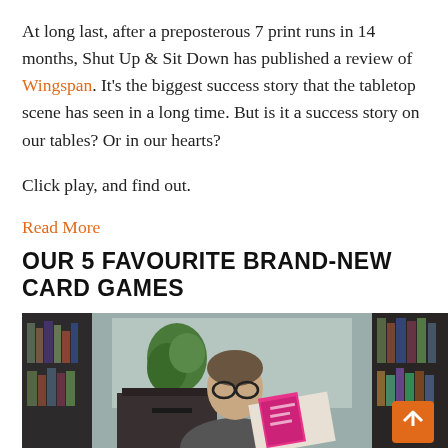At long last, after a preposterous 7 print runs in 14 months, Shut Up & Sit Down has published a review of Wingspan. It's the biggest success story that the tabletop scene has seen in a long time. But is it a success story on our tables? Or in our hearts?
Click play, and find out.
Read More
OUR 5 FAVOURITE BRAND-NEW CARD GAMES
[Figure (photo): A man with glasses sitting and holding open a magazine/booklet with a pink cover, surrounded by bookshelves filled with books and games in the background. An orange arrow button is visible in the lower right.]